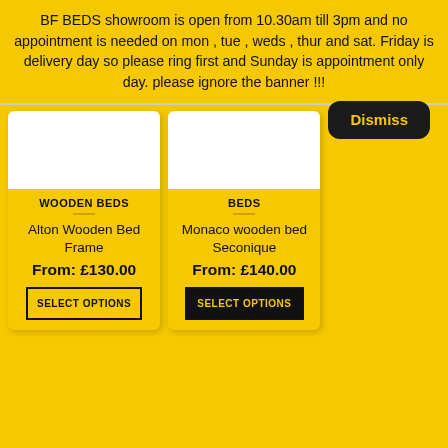BF BEDS showroom is open from 10.30am till 3pm and no appointment is needed on mon , tue , weds , thur and sat. Friday is delivery day so please ring first and Sunday is appointment only day. please ignore the banner !!!
Dismiss
[Figure (photo): Product image placeholder for Alton Wooden Bed Frame (white background)]
WOODEN BEDS
Alton Wooden Bed Frame
From: £130.00
SELECT OPTIONS
[Figure (photo): Product image placeholder for Monaco wooden bed Seconique (white background)]
BEDS
Monaco wooden bed Seconique
From: £140.00
SELECT OPTIONS